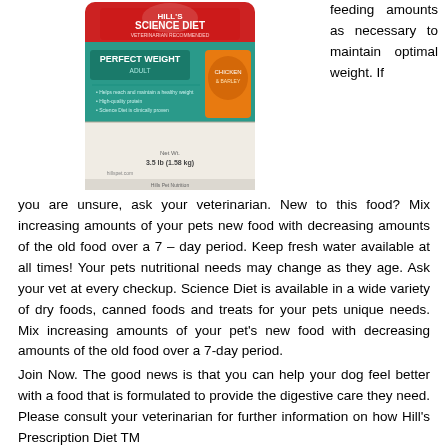[Figure (illustration): Hill's Science Diet Perfect Weight dry dog food bag, teal and orange packaging with a dog image]
feeding amounts as necessary to maintain optimal weight. If you are unsure, ask your veterinarian. New to this food? Mix increasing amounts of your pets new food with decreasing amounts of the old food over a 7 – day period. Keep fresh water available at all times! Your pets nutritional needs may change as they age. Ask your vet at every checkup. Science Diet is available in a wide variety of dry foods, canned foods and treats for your pets unique needs. Mix increasing amounts of your pet's new food with decreasing amounts of the old food over a 7-day period.
Join Now. The good news is that you can help your dog feel better with a food that is formulated to provide the digestive care they need. Please consult your veterinarian for further information on how Hill's Prescription Diet TM